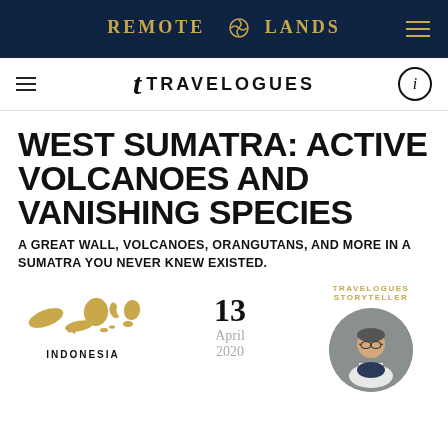REMOTE LANDS
TRAVELOGUES
WEST SUMATRA: ACTIVE VOLCANOES AND VANISHING SPECIES
A GREAT WALL, VOLCANOES, ORANGUTANS, AND MORE IN A SUMATRA YOU NEVER KNEW EXISTED.
TRAVELOGUES STORYTELLER
[Figure (map): Gold-colored silhouette map of Indonesia]
INDONESIA
13
April
2020